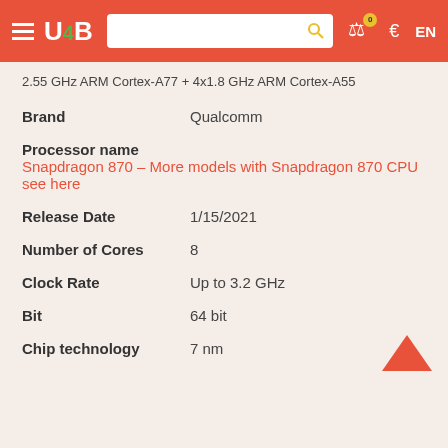U4B [hamburger menu, search, cart, €, EN]
2.55 GHz ARM Cortex-A77 + 4x1.8 GHz ARM Cortex-A55
Brand   Qualcomm
Processor name   Snapdragon 870 – More models with Snapdragon 870 CPU see here
Release Date   1/15/2021
Number of Cores   8
Clock Rate   Up to 3.2 GHz
Bit   64 bit
Chip technology   7 nm